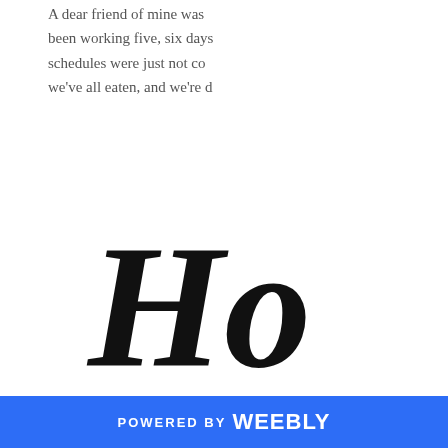A dear friend of mine was been working five, six days schedules were just not co we've all eaten, and we're d
Ho
Of course. What a great ide you I have no idea what this culturally unaware. I didn't k this is, so we're in the car ar tells me. If you don't know h basically a middle Eastern w cigarettes or cigars.
POWERED BY weebly